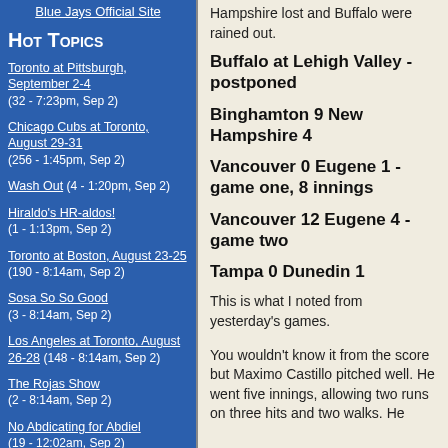Blue Jays Official Site
Hot Topics
Toronto at Pittsburgh, September 2-4 (32 - 7:23pm, Sep 2)
Chicago Cubs at Toronto, August 29-31 (256 - 1:45pm, Sep 2)
Wash Out (4 - 1:20pm, Sep 2)
Hiraldo's HR-aldos! (1 - 1:13pm, Sep 2)
Toronto at Boston, August 23-25 (190 - 8:14am, Sep 2)
Sosa So So Good (3 - 8:14am, Sep 2)
Los Angeles at Toronto, August 26-28 (148 - 8:14am, Sep 2)
The Rojas Show (2 - 8:14am, Sep 2)
No Abdicating for Abdiel (19 - 12:02am, Sep 2)
General Managing (14 - 2:13pm, Sep 1)
Ugly With a Capital U (10 - 11:03am, Aug 31)
Hampshire lost and Buffalo were rained out.
Buffalo at Lehigh Valley - postponed
Binghamton 9 New Hampshire 4
Vancouver 0 Eugene 1 - game one, 8 innings
Vancouver 12 Eugene 4 - game two
Tampa 0 Dunedin 1
This is what I noted from yesterday's games.
You wouldn't know it from the score but Maximo Castillo pitched well. He went five innings, allowing two runs on three hits and two walks. He